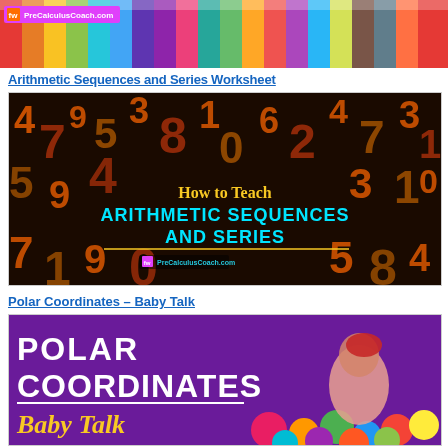[Figure (photo): Colorful pencils arranged side by side with PreCalculusCoach.com logo overlay]
Arithmetic Sequences and Series Worksheet
[Figure (illustration): Dark background with orange numbers, text reads 'How to Teach ARITHMETIC SEQUENCES AND SERIES' with PreCalculusCoach.com branding in cyan]
Polar Coordinates – Baby Talk
[Figure (photo): Purple background image with text 'POLAR COORDINATES Baby Talk' and a child in a ball pit]